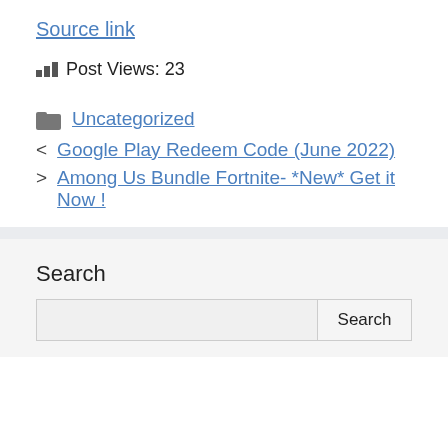Source link
Post Views: 23
Uncategorized
< Google Play Redeem Code (June 2022)
> Among Us Bundle Fortnite- *New* Get it Now !
Search